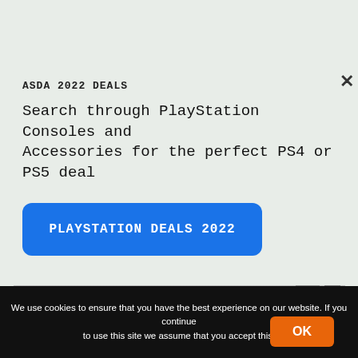ASDA 2022 DEALS
Search through PlayStation Consoles and Accessories for the perfect PS4 or PS5 deal
PLAYSTATION DEALS 2022
[Figure (photo): Partial photo of a PlayStation console on a surface, cropped at bottom of page]
We use cookies to ensure that you have the best experience on our website. If you continue to use this site we assume that you accept this.
OK